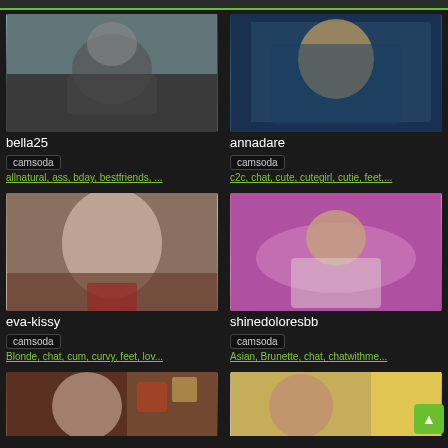Navigation bar (partial)
[Figure (photo): Webcam thumbnail for bella25 - dark image of person's face/hands]
bella25
camsoda
allnatural, ass, bday, bestfriends, ...
[Figure (photo): Webcam thumbnail for annadare - woman with blonde/red hair in colorful robe]
annadare
camsoda
c2c, chat, cute, cutegirl, cutie, feet,...
[Figure (photo): Webcam thumbnail for eva-kissy - woman with red/brown hair]
eva-kissy
camsoda
Blonde, chat, cum, curvy, feet, lov...
[Figure (photo): Webcam thumbnail for shinedoloresbb - woman lying down in pink-lit room]
shinedoloresbb
camsoda
Asian, Brunette, chat, chatwithme...
[Figure (photo): Partial webcam thumbnail - woman with long dark hair in colorful room]
[Figure (photo): Partial webcam thumbnail - woman with dark curly hair, yellow background]